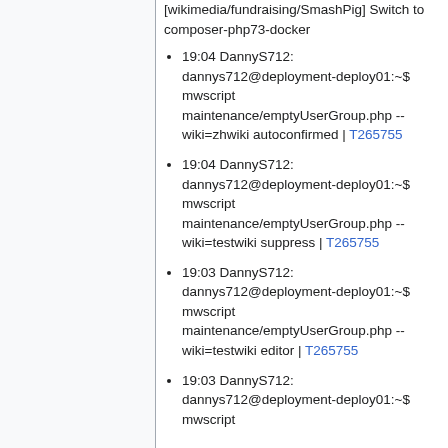[wikimedia/fundraising/SmashPig] Switch to composer-php73-docker
19:04 DannyS712: dannys712@deployment-deploy01:~$ mwscript maintenance/emptyUserGroup.php --wiki=zhwiki autoconfirmed | T265755
19:04 DannyS712: dannys712@deployment-deploy01:~$ mwscript maintenance/emptyUserGroup.php --wiki=testwiki suppress | T265755
19:03 DannyS712: dannys712@deployment-deploy01:~$ mwscript maintenance/emptyUserGroup.php --wiki=testwiki editor | T265755
19:03 DannyS712: dannys712@deployment-deploy01:~$ mwscript